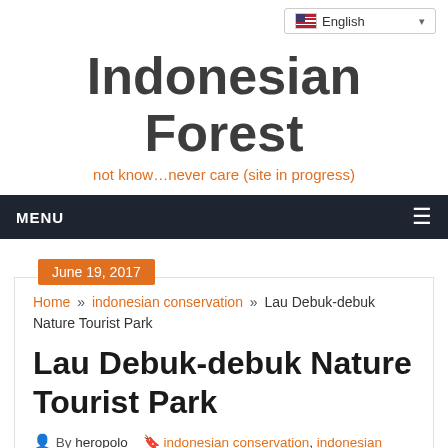English (language selector)
Indonesian Forest
not know…never care (site in progress)
MENU
June 19, 2017
Home » indonesian conservation » Lau Debuk-debuk Nature Tourist Park
Lau Debuk-debuk Nature Tourist Park
By heropolo  indonesian conservation, indonesian nature tourist park, konservasi indonesia, konservasi sumatera utara, taman wisata alam indonesia  0 Comments